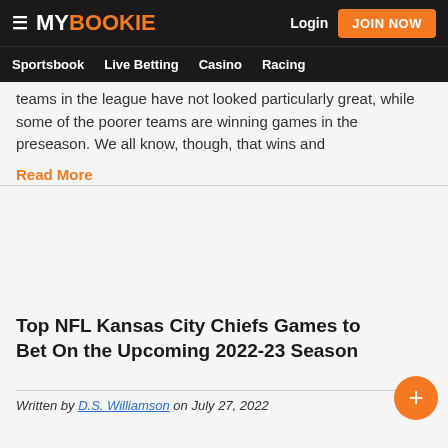MY BOOKIE — Login | JOIN NOW | Sportsbook | Live Betting | Casino | Racing
teams in the league have not looked particularly great, while some of the poorer teams are winning games in the preseason. We all know, though, that wins and
Read More
[Figure (photo): Article image placeholder (blank/empty area)]
Top NFL Kansas City Chiefs Games to Bet On the Upcoming 2022-23 Season
Written by D.S. Williamson on July 27, 2022